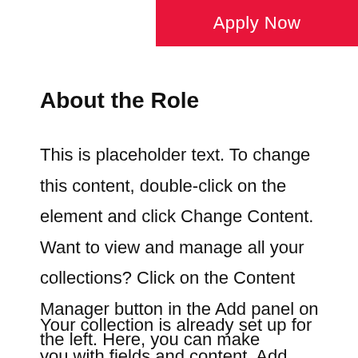[Figure (other): Red 'Apply Now' button banner at the top of the page]
About the Role
This is placeholder text. To change this content, double-click on the element and click Change Content. Want to view and manage all your collections? Click on the Content Manager button in the Add panel on the left. Here, you can make changes to your content, add new fields, create dynamic pages and more.
Your collection is already set up for you with fields and content. Add your